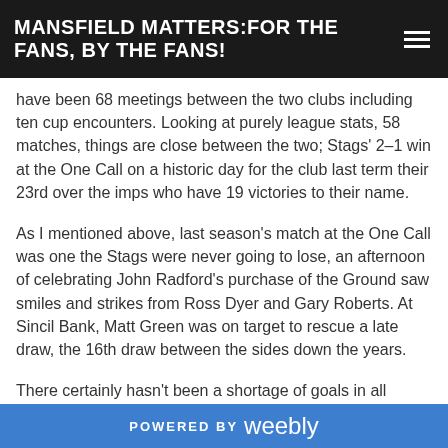MANSFIELD MATTERS:FOR THE FANS, BY THE FANS!
have been 68 meetings between the two clubs including ten cup encounters. Looking at purely league stats, 58 matches, things are close between the two; Stags' 2-1 win at the One Call on a historic day for the club last term their 23rd over the imps who have 19 victories to their name.
As I mentioned above, last season's match at the One Call was one the Stags were never going to lose, an afternoon of celebrating John Radford's purchase of the Ground saw smiles and strikes from Ross Dyer and Gary Roberts. At Sincil Bank, Matt Green was on target to rescue a late draw, the 16th draw between the sides down the years.
There certainly hasn't been a shortage of goals in all
POWERED BY weebly